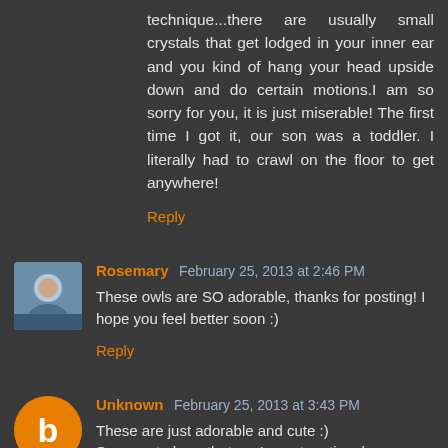technique...there are usually small crystals that get lodged in your inner ear and you kind of hang your head upside down and do certain motions.I am so sorry for you, it is just miserable! The first time I got it, our son was a toddler. I literally had to crawl on the floor to get anywhere!
Reply
Rosemary  February 25, 2013 at 2:46 PM
These owls are SO adorable, thanks for posting! I hope you feel better soon :)
Reply
Unknown  February 25, 2013 at 3:43 PM
These are just adorable and cute :)
So sorry to hear that you've got vertigo, hope you will feel better soon. I know what you mean not being able to run or anything.
Have a good week!
Reply